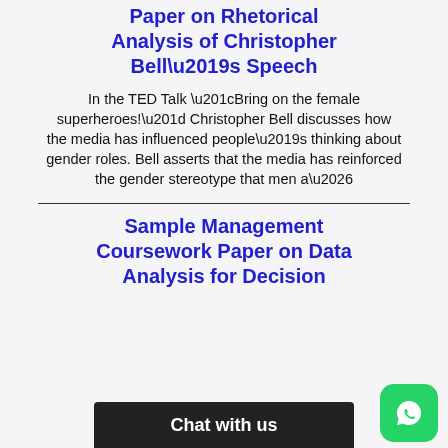Paper on Rhetorical Analysis of Christopher Bell’s Speech
In the TED Talk “Bring on the female superheroes!” Christopher Bell discusses how the media has influenced people’s thinking about gender roles. Bell asserts that the media has reinforced the gender stereotype that men a…
Sample Management Coursework Paper on Data Analysis for Decision
Chat with us